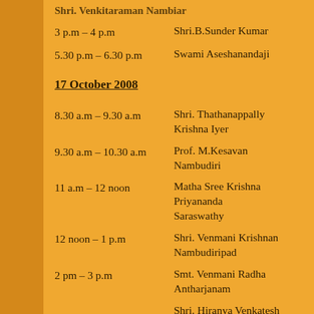3 p.m – 4 p.m   Shri.B.Sunder Kumar
5.30 p.m – 6.30 p.m   Swami Aseshanandaji
17 October 2008
8.30 a.m – 9.30 a.m   Shri. Thathanappally Krishna Iyer
9.30 a.m – 10.30 a.m   Prof. M.Kesavan Nambudiri
11 a.m – 12 noon   Matha Sree Krishna Priyananda Saraswathy
12 noon – 1 p.m   Shri. Venmani Krishnan Nambudiripad
2 pm – 3 p.m   Smt. Venmani Radha Antharjanam
3 – 4   Shri. Hiranya Venkatesh